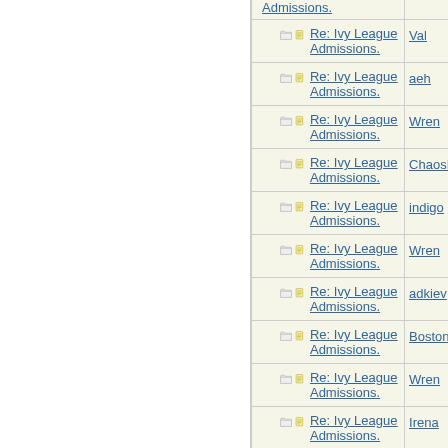| Subject | Author |
| --- | --- |
| Re: Ivy League Admissions. | Val |
| Re: Ivy League Admissions. | aeh |
| Re: Ivy League Admissions. | Wren |
| Re: Ivy League Admissions. | ChaosMi |
| Re: Ivy League Admissions. | indigo |
| Re: Ivy League Admissions. | Wren |
| Re: Ivy League Admissions. | adkiev |
| Re: Ivy League Admissions. | Bostonia |
| Re: Ivy League Admissions. | Wren |
| Re: Ivy League Admissions. | Irena |
| Re: Ivy | aeh |